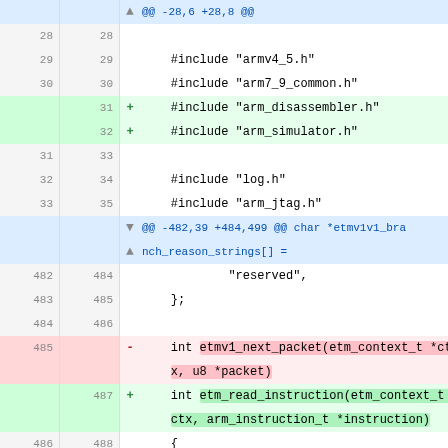[Figure (screenshot): A unified diff / code review view showing changes to a C source file. Lines are shown with old line numbers, new line numbers, a +/- sign, and code content. Added lines are highlighted green, removed lines in red, context lines in white, hunk headers in blue.]